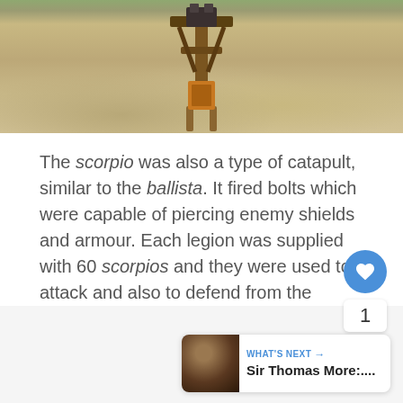[Figure (photo): Photograph of a scorpio (Roman catapult/ballista weapon) mounted on a stand, photographed outdoors on rocky/gravelly ground with some grass visible in the background.]
The scorpio was also a type of catapult, similar to the ballista. It fired bolts which were capable of piercing enemy shields and armour. Each legion was supplied with 60 scorpios and they were used to attack and also to defend from the enemy.